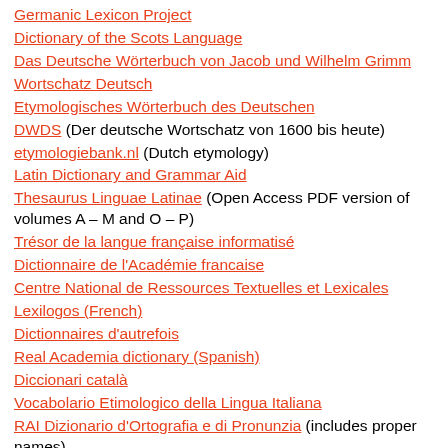Germanic Lexicon Project
Dictionary of the Scots Language
Das Deutsche Wörterbuch von Jacob und Wilhelm Grimm
Wortschatz Deutsch
Etymologisches Wörterbuch des Deutschen
DWDS (Der deutsche Wortschatz von 1600 bis heute)
etymologiebank.nl (Dutch etymology)
Latin Dictionary and Grammar Aid
Thesaurus Linguae Latinae (Open Access PDF version of volumes A – M and O – P)
Trésor de la langue française informatisé
Dictionnaire de l'Académie francaise
Centre National de Ressources Textuelles et Lexicales
Lexilogos (French)
Dictionnaires d'autrefois
Real Academia dictionary (Spanish)
Diccionari català
Vocabolario Etimologico della Lingua Italiana
RAI Dizionario d'Ortografia e di Pronunzia (includes proper names)
Dizy: Il dizionario pratico con curiosità e informazioni utili